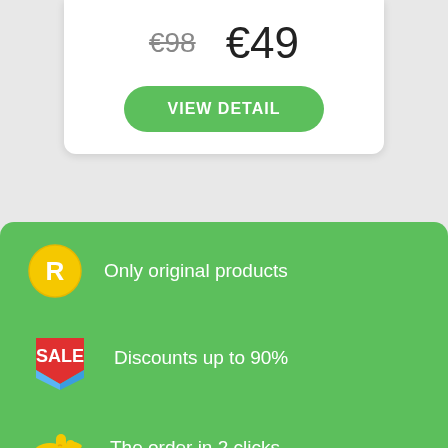€98  €49
VIEW DETAIL
Only original products
Discounts up to 90%
The order in 2 clicks
Cash on delivery